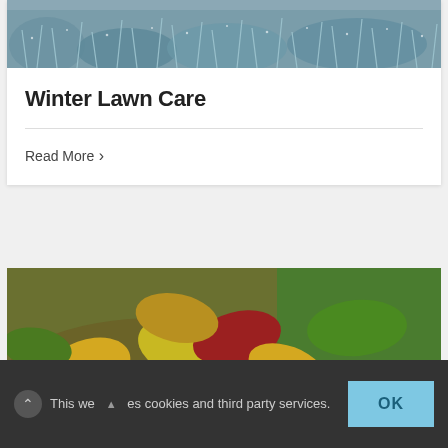[Figure (photo): Frosty grass/plants with ice crystals, blue-grey tones, winter scene]
Winter Lawn Care
Read More >
[Figure (photo): Autumn leaves (yellow, orange, red, green) on grass with a teal/green rake]
This we  es cookies and third party services.
OK